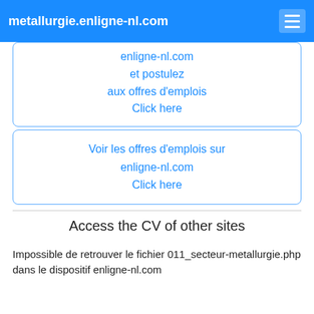metallurgie.enligne-nl.com
enligne-nl.com
et postulez
aux offres d'emplois
Click here
Voir les offres d'emplois sur
enligne-nl.com
Click here
Access the CV of other sites
Impossible de retrouver le fichier 011_secteur-metallurgie.php dans le dispositif enligne-nl.com